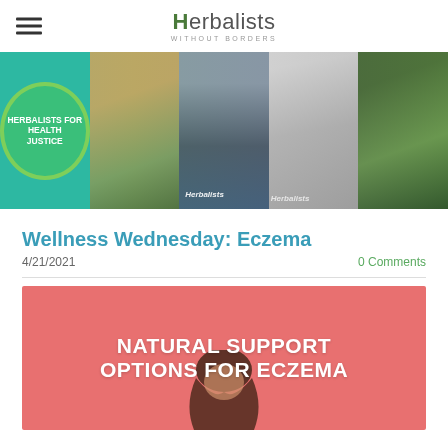Herbalists Without Borders — navigation header with hamburger menu and logo
[Figure (photo): Banner collage of five images: illustrated 'Herbalists for Health Justice' green badge on teal background, person helping child outdoors, woman at Herbalists booth indoors, herbal products table display, person gardening]
Wellness Wednesday: Eczema
4/21/2021
0 Comments
[Figure (infographic): Pink background promotional image with white bold text reading 'NATURAL SUPPORT OPTIONS FOR ECZEMA', showing a person with dark hair bowing their head]